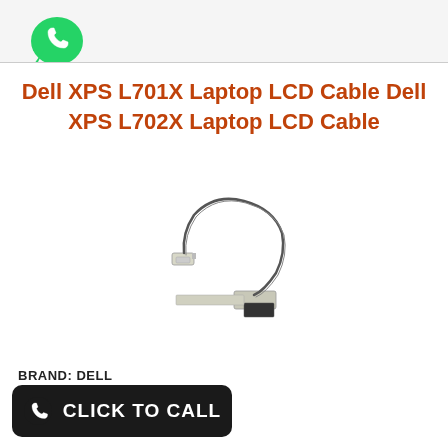[Figure (logo): WhatsApp logo icon - green speech bubble with white phone handset]
Dell XPS L701X Laptop LCD Cable Dell XPS L702X Laptop LCD Cable
[Figure (photo): Dell laptop LCD flex video screen cable with connectors on both ends and a thin wire loop]
BRAND: DELL
[Figure (infographic): Black rounded rectangle button with white phone icon and text CLICK TO CALL]
DISCRIPTION : LCD DISPLY FLEX VIDEO SCREEN CABLE